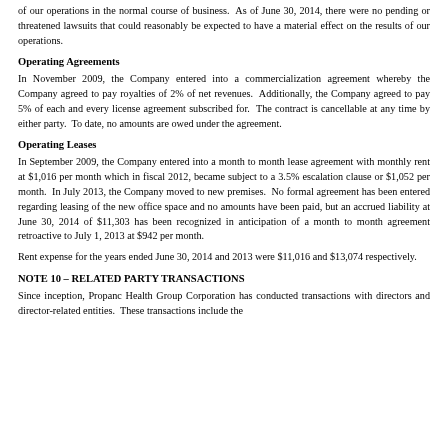of our operations in the normal course of business. As of June 30, 2014, there were no pending or threatened lawsuits that could reasonably be expected to have a material effect on the results of our operations.
Operating Agreements
In November 2009, the Company entered into a commercialization agreement whereby the Company agreed to pay royalties of 2% of net revenues. Additionally, the Company agreed to pay 5% of each and every license agreement subscribed for. The contract is cancellable at any time by either party. To date, no amounts are owed under the agreement.
Operating Leases
In September 2009, the Company entered into a month to month lease agreement with monthly rent at $1,016 per month which in fiscal 2012, became subject to a 3.5% escalation clause or $1,052 per month. In July 2013, the Company moved to new premises. No formal agreement has been entered regarding leasing of the new office space and no amounts have been paid, but an accrued liability at June 30, 2014 of $11,303 has been recognized in anticipation of a month to month agreement retroactive to July 1, 2013 at $942 per month.
Rent expense for the years ended June 30, 2014 and 2013 were $11,016 and $13,074 respectively.
NOTE 10 – RELATED PARTY TRANSACTIONS
Since inception, Propanc Health Group Corporation has conducted transactions with directors and director-related entities. These transactions include the